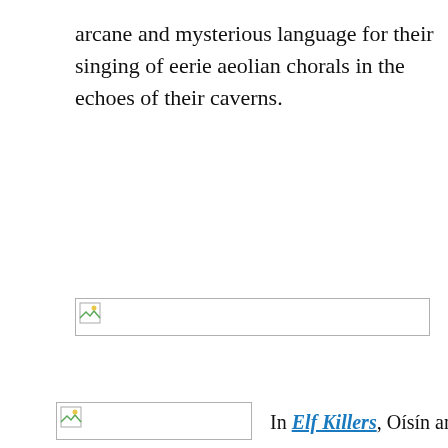arcane and mysterious language for their singing of eerie aeolian chorals in the echoes of their caverns.
[Figure (other): Broken/missing image placeholder, wide horizontal rectangle with small image icon in top-left corner.]
[Figure (other): Broken/missing image placeholder, horizontal rectangle with small image icon in top-left corner, positioned bottom-left.]
In Elf Killers, Oísín and